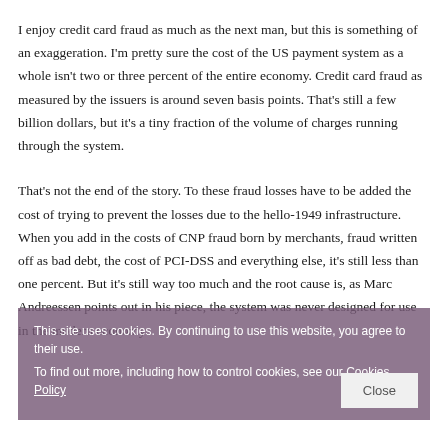I enjoy credit card fraud as much as the next man, but this is something of an exaggeration. I'm pretty sure the cost of the US payment system as a whole isn't two or three percent of the entire economy. Credit card fraud as measured by the issuers is around seven basis points. That's still a few billion dollars, but it's a tiny fraction of the volume of charges running through the system.
That's not the end of the story. To these fraud losses have to be added the cost of trying to prevent the losses due to the hello-1949 infrastructure. When you add in the costs of CNP fraud born by merchants, fraud written off as bad debt, the cost of PCI-DSS and everything else, it's still less than one percent. But it's still way too much and the root cause is, as Marc Andreessen points out in his piece, the system was never designed for use in the modern economy.
This site uses cookies. By continuing to use this website, you agree to their use. To find out more, including how to control cookies, see our Cookies Policy